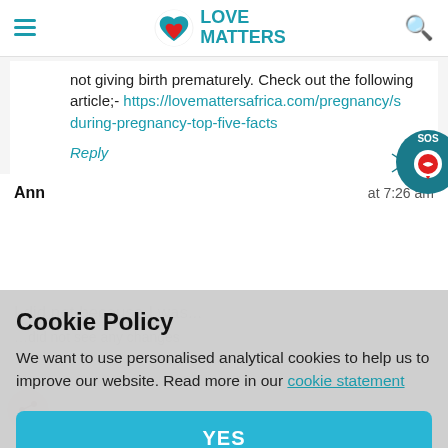Love Matters
not giving birth prematurely. Check out the following article;- https://lovemattersafrica.com/pregnancy/s during-pregnancy-top-five-facts
Reply
Ann   at 7:26 am
I did not because I was...
Cookie Policy
We want to use personalised analytical cookies to help us to improve our website. Read more in our cookie statement
YES
Love Matters   at 7:50 pm